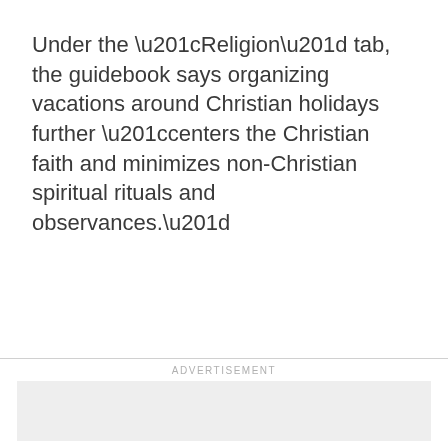Under the “Religion” tab, the guidebook says organizing vacations around Christian holidays further “centers the Christian faith and minimizes non-Christian spiritual rituals and observances.”
ADVERTISEMENT
[Figure (other): Advertisement placeholder box (light grey rectangle)]